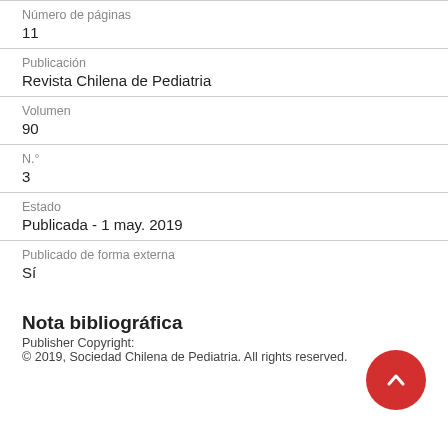Número de páginas
11
Publicación
Revista Chilena de Pediatria
Volumen
90
N.°
3
Estado
Publicada - 1 may. 2019
Publicado de forma externa
Sí
Nota bibliográfica
Publisher Copyright:
© 2019, Sociedad Chilena de Pediatria. All rights reserved.